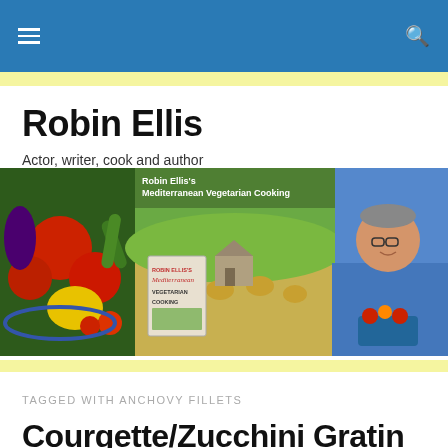Robin Ellis — navigation header
Robin Ellis
Actor, writer, cook and author
[Figure (photo): Banner image showing vegetables, book cover for Robin Ellis's Mediterranean Vegetarian Cooking, a countryside field with hay bales, and Robin Ellis holding produce]
TAGGED WITH ANCHOVY FILLETS
Courgette/Zucchini Gratin with anchovies and garlic